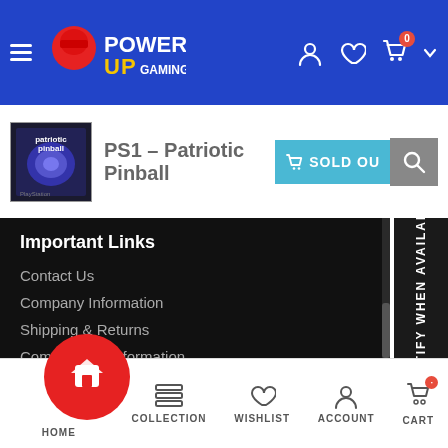[Figure (screenshot): PowerUp Gaming website header with blue background, hamburger menu, logo, user icon, heart icon, and cart icon with badge showing 0]
PS1 - Patriotic Pinball
[Figure (photo): PS1 Patriotic Pinball game cover art thumbnail]
[Figure (other): Sold Out button in teal/cyan color with cart icon]
[Figure (other): Search button in grey]
Important Links
Contact Us
Company Information
Shipping & Returns
Compatibility Information
Trade-In/Sell Your Games
Privacy Policy
Terms of Service
NOTIFY WHEN AVAILABLE
[Figure (other): Bottom navigation bar with HOME, COLLECTION, WISHLIST, ACCOUNT, CART icons]
HOME   COLLECTION   WISHLIST   ACCOUNT   CART